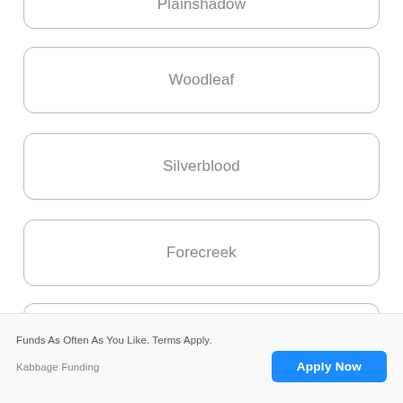Plainshadow
Woodleaf
Silverblood
Forecreek
Heartsteam
Crestcutter
Funds As Often As You Like. Terms Apply.
Kabbage Funding
Apply Now